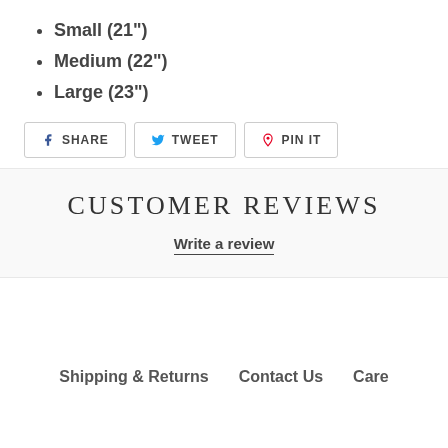Small (21")
Medium (22")
Large (23")
SHARE   TWEET   PIN IT
CUSTOMER REVIEWS
Write a review
Shipping & Returns   Contact Us   Care